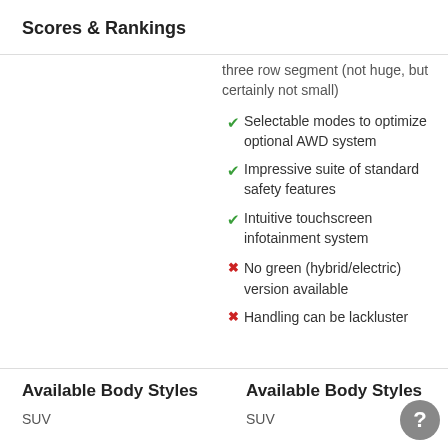Scores & Rankings
three row segment (not huge, but certainly not small)
Selectable modes to optimize optional AWD system
Impressive suite of standard safety features
Intuitive touchscreen infotainment system
No green (hybrid/electric) version available
Handling can be lackluster
Available Body Styles
SUV
Available Body Styles
SUV